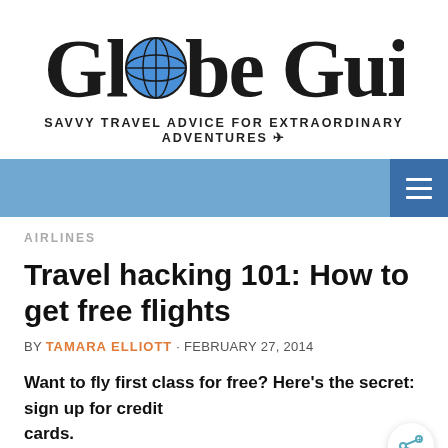Globe Guide
SAVVY TRAVEL ADVICE FOR EXTRAORDINARY ADVENTURES ✈
[Figure (other): Navigation bar with hamburger menu icon on right, light blue background]
AIRLINES
Travel hacking 101: How to get free flights
BY TAMARA ELLIOTT · FEBRUARY 27, 2014
Want to fly first class for free? Here's the secret: sign up for credit cards.